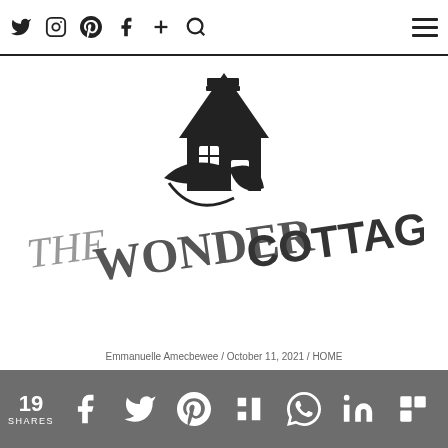Navigation bar with social icons (Twitter, Instagram, Pinterest, Facebook, Plus, Search) and hamburger menu
[Figure (logo): The Wonder Cottage logo: a black house/cottage icon with chimney and leaf decoration above the stylized text 'THEWONDERCOTTAGE' in mixed gray and black lettering at an angle]
Emmanuelle Amecbewee / October 11, 2021 / HOME
19 SHARES | social share icons: Facebook, Twitter, Pinterest, Mix, WhatsApp, LinkedIn, Flipboard